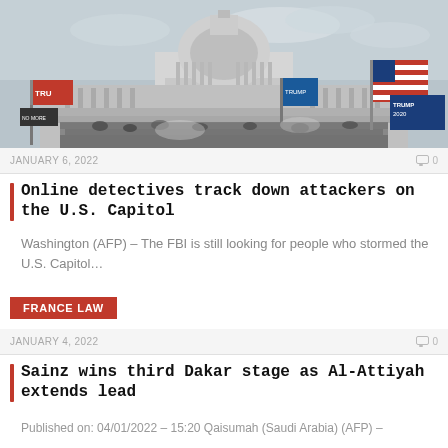[Figure (photo): Photograph of the U.S. Capitol building during the January 6 riot, with crowds and flags including American and Trump flags visible on the steps.]
JANUARY 6, 2022   🗨 0
Online detectives track down attackers on the U.S. Capitol
Washington (AFP) – The FBI is still looking for people who stormed the U.S. Capitol…
FRANCE LAW
JANUARY 4, 2022   🗨 0
Sainz wins third Dakar stage as Al-Attiyah extends lead
Published on: 04/01/2022 – 15:20 Qaisumah (Saudi Arabia) (AFP) –